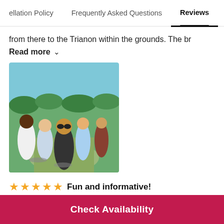ellation Policy  Frequently Asked Questions  Reviews
from there to the Trianon within the grounds. The br
Read more ∨
[Figure (photo): Group of people on bicycles taking a selfie outdoors in a park or garden setting on a sunny day]
★★★★★ Fun and informative!
Kathy_K, Aug 2022
Check Availability